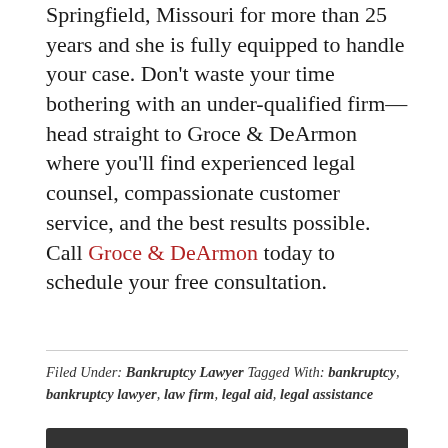Springfield, Missouri for more than 25 years and she is fully equipped to handle your case. Don't waste your time bothering with an under-qualified firm—head straight to Groce & DeArmon where you'll find experienced legal counsel, compassionate customer service, and the best results possible. Call Groce & DeArmon today to schedule your free consultation.
Filed Under: Bankruptcy Lawyer Tagged With: bankruptcy, bankruptcy lawyer, law firm, legal aid, legal assistance
CONTACT US FOR A FREE CONSULTATION
417-862-3706 or Toll Free in Missouri 1-800-640-3706